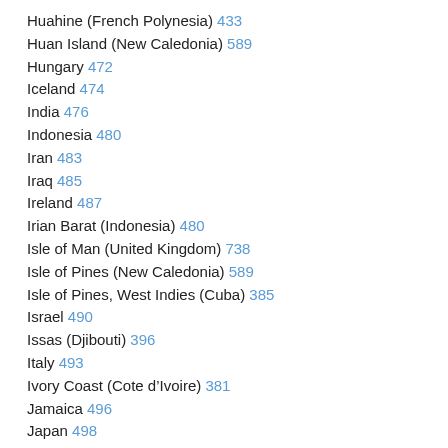Huahine (French Polynesia) 433
Huan Island (New Caledonia) 589
Hungary 472
Iceland 474
India 476
Indonesia 480
Iran 483
Iraq 485
Ireland 487
Irian Barat (Indonesia) 480
Isle of Man (United Kingdom) 738
Isle of Pines (New Caledonia) 589
Isle of Pines, West Indies (Cuba) 385
Israel 490
Issas (Djibouti) 396
Italy 493
Ivory Coast (Cote d'Ivoire) 381
Jamaica 496
Japan 498
Jersey (Channel Islands) (United Kingdom) 738
Johore (Malaysia) 551